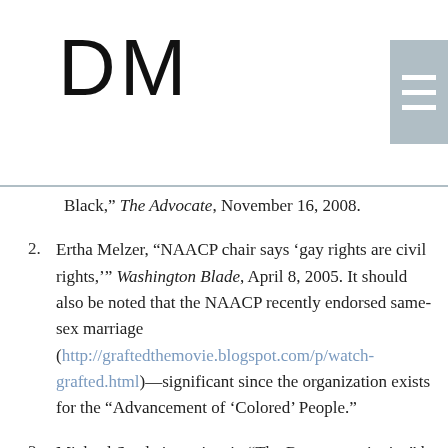DM
Black,” The Advocate, November 16, 2008.
2. Ertha Melzer, “NAACP chair says ‘gay rights are civil rights,’” Washington Blade, April 8, 2005. It should also be noted that the NAACP recently endorsed same-sex marriage (http://graftedthemovie.blogspot.com/p/watch-grafted.html)—significant since the organization exists for the “Advancement of ‘Colored’ People.”
3. Michael Steele interview in “The Reconstructionist,” by Lisa Paulo, GQ